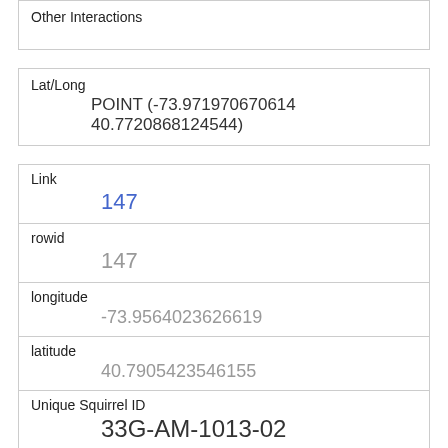| Other Interactions |  |
| Lat/Long | POINT (-73.971970670614 40.7720868124544) |
| Link | 147 |
| rowid | 147 |
| longitude | -73.9564023626619 |
| latitude | 40.7905423546155 |
| Unique Squirrel ID | 33G-AM-1013-02 |
| Hectare | 33G |
| Shift | AM |
| Date |  |